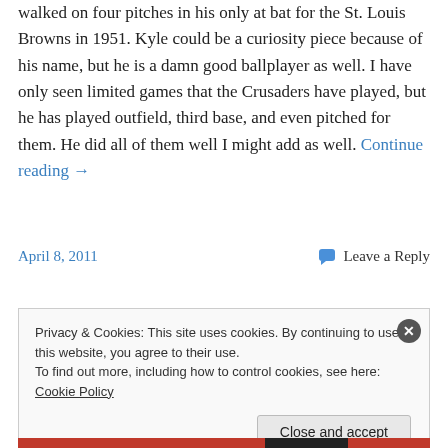walked on four pitches in his only at bat for the St. Louis Browns in 1951. Kyle could be a curiosity piece because of his name, but he is a damn good ballplayer as well. I have only seen limited games that the Crusaders have played, but he has played outfield, third base, and even pitched for them. He did all of them well I might add as well. Continue reading →
April 8, 2011    💬 Leave a Reply
Privacy & Cookies: This site uses cookies. By continuing to use this website, you agree to their use.
To find out more, including how to control cookies, see here: Cookie Policy
Close and accept